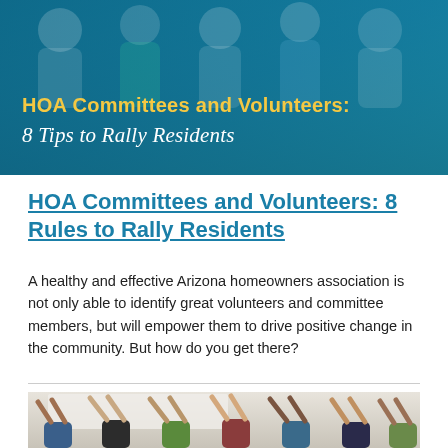[Figure (photo): Banner image with group of people in background and teal/blue overlay. Title text overlay reads 'HOA Committees and Volunteers: 8 Tips to Rally Residents' in yellow bold and white italic script.]
HOA Committees and Volunteers: 8 Rules to Rally Residents
A healthy and effective Arizona homeowners association is not only able to identify great volunteers and committee members, but will empower them to drive positive change in the community. But how do you get there?
[Figure (photo): Photo of a diverse group of people in a room with raised fists, celebrating or volunteering together.]